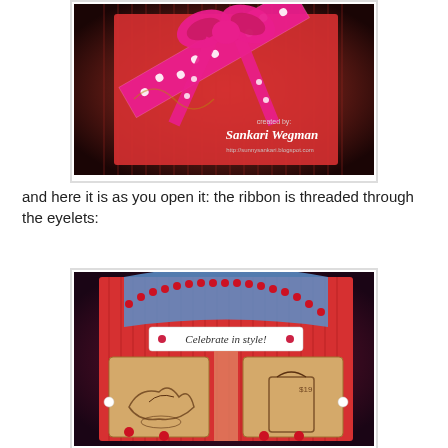[Figure (photo): Handmade red corrugated card with pink and white polka dot ribbon bow on top, watermark reads 'created by: Sankari Wegman, http://sunnysankari.blogspot.com']
and here it is as you open it: the ribbon is threaded through the eyelets:
[Figure (photo): Red corrugated handmade card opened showing blue accordion pages at top with red brad/eyelet trim, label reading 'Celebrate in style!', and two windows showing stamped images of bags/purses]